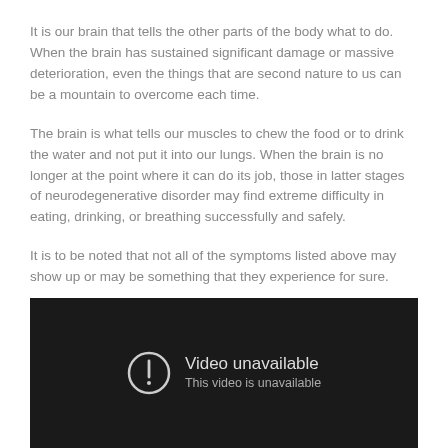It is our brain that tells the other parts of the body what to do. When the brain has sustained significant damage or massive deterioration, even the things that are second nature to us can be a mountain to overcome each time.
The brain is what tells our muscles to chew the food or to drink the water and not put it into our lungs. When the brain is no longer at the point where it can do its job, those in latter stages of neurodegenerative disorder may find extreme difficulty in eating, drinking, or breathing successfully and safely.
It is to be noted that not all of the symptoms listed above may show up or may be something that they experience for sure.
[Figure (screenshot): Embedded video player showing 'Video unavailable — This video is unavailable' error message on a dark background with a warning circle icon.]